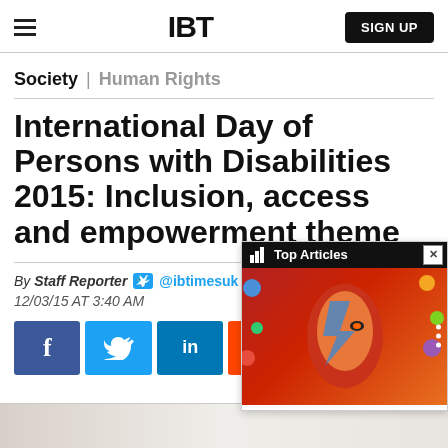IBT | SIGN UP
Society | Human Rights
International Day of Persons with Disabilities 2015: Inclusion, access and empowerment theme
By Staff Reporter @ibtimesuk
12/03/15 AT 3:40 AM
[Figure (screenshot): Social share buttons: Facebook, Twitter, LinkedIn, Reddit, Flipboard, Email, and a Top Articles overlay popup with a David Bowie image]
[Figure (photo): Bottom edge of a photograph, bright interior scene]